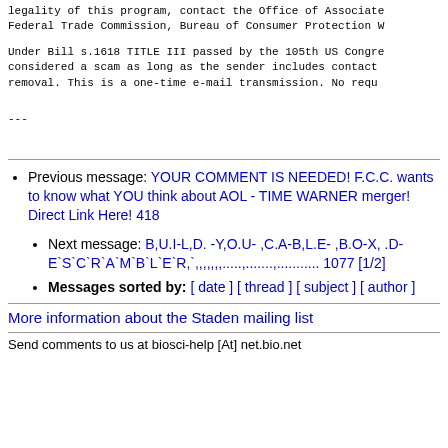legality of this program, contact the Office of Associate Federal Trade Commission, Bureau of Consumer Protection W
Under Bill s.1618 TITLE III passed by the 105th US Congre considered a scam as long as the sender includes contact removal. This is a one-time e-mail transmission.  No requ
---
Previous message: YOUR COMMENT IS NEEDED! F.C.C. wants to know what YOU think about AOL - TIME WARNER merger! Direct Link Here! 418
Next message: B,U.I-L,D. -Y,O.U- ,C.A-B,L.E- ,B.O-X, .D-E`S`C`R`A`M`B`L`E`R,`,,,,,,,.....,.......,...........  1077 [1/2]
Messages sorted by: [ date ] [ thread ] [ subject ] [ author ]
More information about the Staden mailing list
Send comments to us at biosci-help [At] net.bio.net